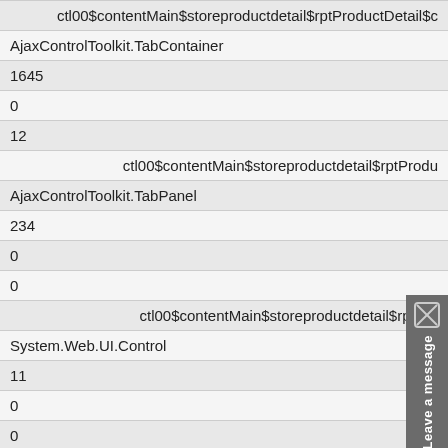| ctl00$contentMain$storeproductdetail$rptProductDetail$c |
| AjaxControlToolkit.TabContainer |
| 1645 |
| 0 |
| 12 |
| ctl00$contentMain$storeproductdetail$rptProdu |
| AjaxControlToolkit.TabPanel |
| 234 |
| 0 |
| 0 |
| ctl00$contentMain$storeproductdetail$rptPro |
| System.Web.UI.Control |
| 11 |
| 0 |
| 0 |
| ctl00$contentMain$storeproductdetail$rptProductDe |